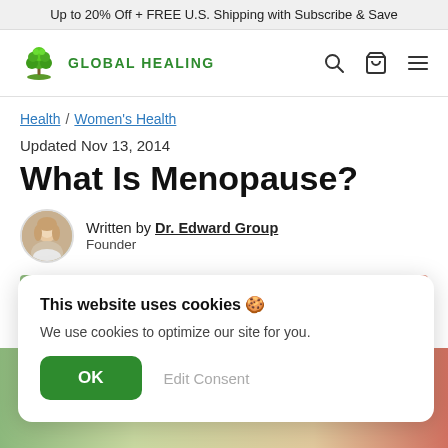Up to 20% Off + FREE U.S. Shipping with Subscribe & Save
[Figure (logo): Global Healing logo with green tree icon and text GLOBAL HEALING]
Health / Women's Health
Updated Nov 13, 2014
What Is Menopause?
Written by Dr. Edward Group
Founder
[Figure (photo): Article header image showing hands or nature scene with green, orange, and red tones]
This website uses cookies 🍪
We use cookies to optimize our site for you.
OK   Edit Consent